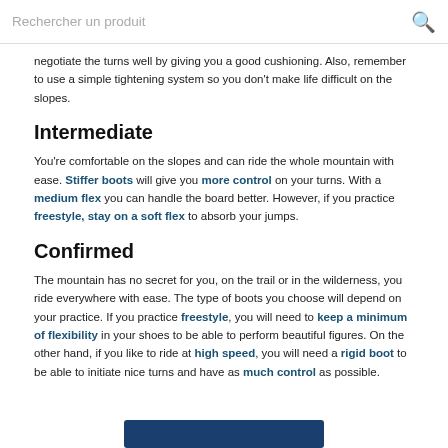Rechercher un produit
negotiate the turns well by giving you a good cushioning. Also, remember to use a simple tightening system so you don't make life difficult on the slopes.
Intermediate
You're comfortable on the slopes and can ride the whole mountain with ease. Stiffer boots will give you more control on your turns. With a medium flex you can handle the board better. However, if you practice freestyle, stay on a soft flex to absorb your jumps.
Confirmed
The mountain has no secret for you, on the trail or in the wilderness, you ride everywhere with ease. The type of boots you choose will depend on your practice. If you practice freestyle, you will need to keep a minimum of flexibility in your shoes to be able to perform beautiful figures. On the other hand, if you like to ride at high speed, you will need a rigid boot to be able to initiate nice turns and have as much control as possible.